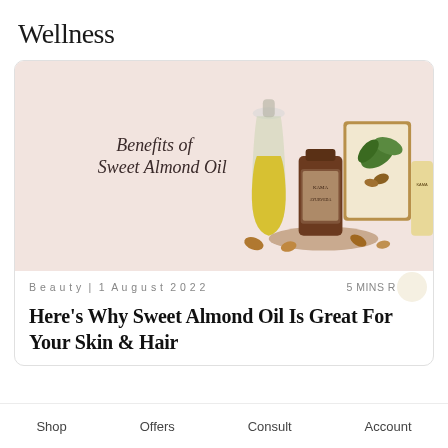Wellness
[Figure (photo): Product photo showing Kama Ayurveda sweet almond oil bottle, a glass carafe with yellow oil, botanical illustration of almond plant, and a product tube, arranged with almonds on a wooden board against a pink background. Text overlay reads 'Benefits of Sweet Almond Oil'.]
Beauty | 1 August 2022
5 MINS R...
Here's Why Sweet Almond Oil Is Great For Your Skin & Hair
Shop   Offers   Consult   Account